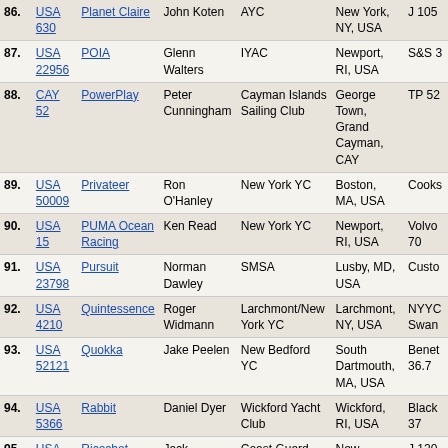| # | Sail | Boat | Skipper | Club | City | Type |
| --- | --- | --- | --- | --- | --- | --- |
| 86. | USA 630 | Planet Claire | John Koten | AYC | New York, NY, USA | J 105 |
| 87. | USA 22956 | POIA | Glenn Walters | IYAC | Newport, RI, USA | S&S 3 |
| 88. | CAY 52 | PowerPlay | Peter Cunningham | Cayman Islands Sailing Club | George Town, Grand Cayman, CAY | TP 52 |
| 89. | USA 50009 | Privateer | Ron O'Hanley | New York YC | Boston, MA, USA | Cooks |
| 90. | USA 15 | PUMA Ocean Racing | Ken Read | New York YC | Newport, RI, USA | Volvo 70 |
| 91. | USA 23798 | Pursuit | Norman Dawley | SMSA | Lusby, MD, USA | Custo |
| 92. | USA 4210 | Quintessence | Roger Widmann | Larchmont/New York YC | Larchmont, NY, USA | NYYC Swan |
| 93. | USA 52121 | Quokka | Jake Peelen | New Bedford YC | South Dartmouth, MA, USA | Benet 36.7 |
| 94. | USA 5366 | Rabbit | Daniel Dyer | Wickford Yacht Club | Wickford, RI, USA | Black 37 |
| 95. | USA 50316 | Ricochet | Jack Neades | Coast Guard Sailing Club | New London, CT, USA | J 120 |
| 96. | USA 55155 | Rima2 | John Brim | New York YC | New York, NY, USA | RP 55 |
| 97. | USA 51 | Rush | Bill Sweetser | Annapolis Yacht Club | Annapolis, MD, USA | J 109 |
| 98. | USA 90 | Safina | Kevin Clarke |  | portsmouth, RI, USA | J 100 |
| 99. | K 4445 | Samurai II | Tim Mathews |  | Towson, MD, USA | SHE 3 |
| 100. | USA 523 | Savasana | Brian Keane | Beverley Yacht Club | Weston, MA, USA | J 105 |